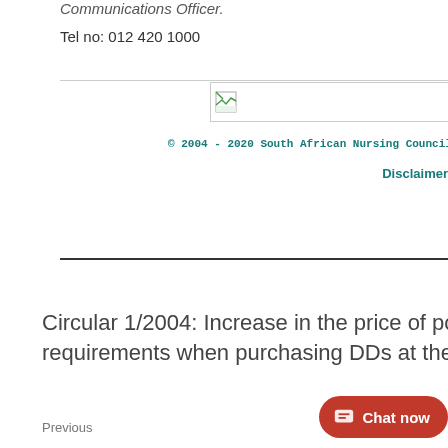Communications Officer.
Tel no: 012 420 1000
[Figure (logo): South African Nursing Council logo image placeholder with broken image icon]
© 2004 - 2020 South African Nursing Council (Under...
Disclaimer
Circular 1/2004: Increase in the price of postage and additional requirements when purchasing DDs at the counter (from 1 Ju 2004)
Previous